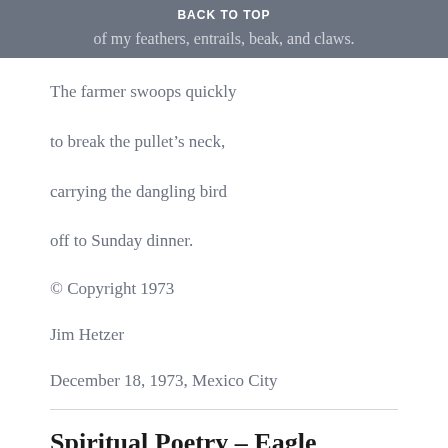BACK TO TOP
of my feathers, entrails, beak, and claws.
The farmer swoops quickly
to break the pullet's neck,
carrying the dangling bird
off to Sunday dinner.
© Copyright 1973
Jim Hetzer
December 18, 1973, Mexico City
Spiritual Poetry – Eagle Soaring